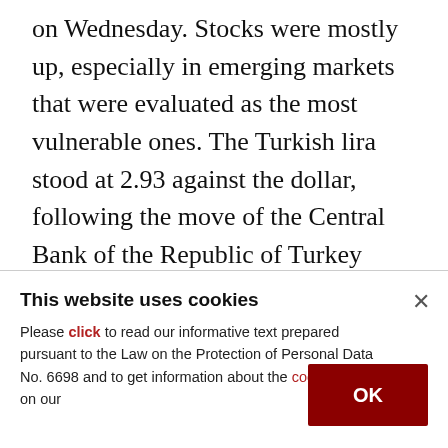on Wednesday. Stocks were mostly up, especially in emerging markets that were evaluated as the most vulnerable ones. The Turkish lira stood at 2.93 against the dollar, following the move of the Central Bank of the Republic of Turkey (CBRT). Interest rates on dollar-denominated required reserves, reserve options and bank reserves were raised from 0.24 percent to 0.49 percent in reaction to the Fed's decision. Analysts closely follow the CBRT's moves, since the bank previously noted
This website uses cookies
Please click to read our informative text prepared pursuant to the Law on the Protection of Personal Data No. 6698 and to get information about the cookies used on our